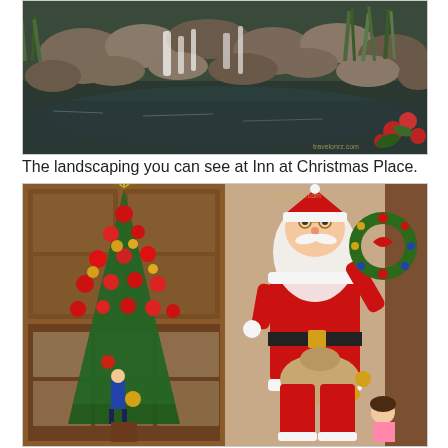[Figure (photo): Outdoor landscaping with rocks, waterfall, pond, green plants and red flowers, with travelonrz.com watermark]
The landscaping you can see at Inn at Christmas Place.
[Figure (photo): Left: tall Christmas tree decorated with red poinsettias, gold flowers, nutcrackers in a wood-paneled lobby. Right: Santa Claus in red suit holding a colorful Christmas wreath with a small child nearby, travelonrz.com watermark]